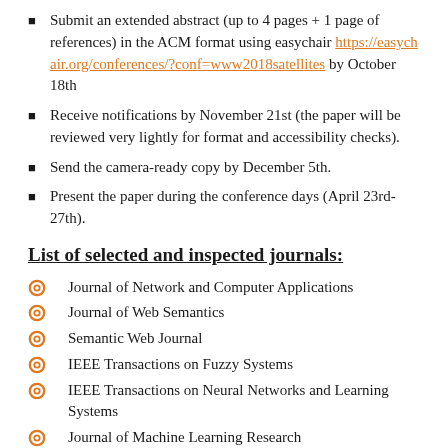Submit an extended abstract (up to 4 pages + 1 page of references) in the ACM format using easychair https://easychair.org/conferences/?conf=www2018satellites by October 18th
Receive notifications by November 21st (the paper will be reviewed very lightly for format and accessibility checks).
Send the camera-ready copy by December 5th.
Present the paper during the conference days (April 23rd-27th).
List of selected and inspected journals:
Journal of Network and Computer Applications
Journal of Web Semantics
Semantic Web Journal
IEEE Transactions on Fuzzy Systems
IEEE Transactions on Neural Networks and Learning Systems
Journal of Machine Learning Research